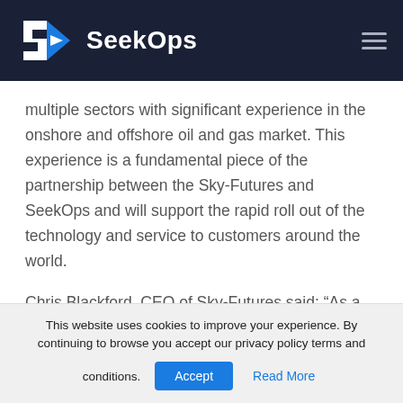SeekOps
multiple sectors with significant experience in the onshore and offshore oil and gas market. This experience is a fundamental piece of the partnership between the Sky-Futures and SeekOps and will support the rapid roll out of the technology and service to customers around the world.
Chris Blackford, CEO of Sky-Futures said: “As a company with significant experience using drone
This website uses cookies to improve your experience. By continuing to browse you accept our privacy policy terms and conditions.